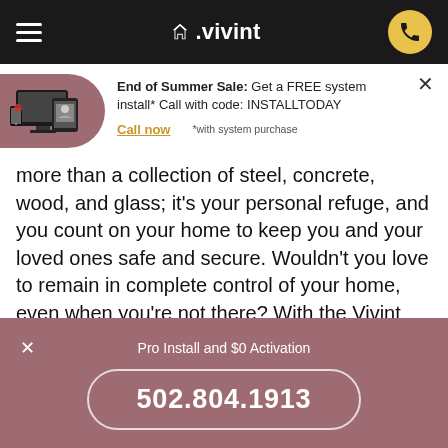vivint
End of Summer Sale: Get a FREE system install* Call with code: INSTALLTODAY
Call now   *with system purchase
more than a collection of steel, concrete, wood, and glass; it's your personal refuge, and you count on your home to keep you and your loved ones safe and secure. Wouldn't you love to remain in complete control of your home, even when you're not there? With the Vivint system, you can. When it comes to saving money, the little things add up; unplugging your coffee maker when it's not in use, turning off lights before you leave the room, and adjusting your thermostat to a more economical setting before you walk
Pro Install and $0 Activation
502.804.1913